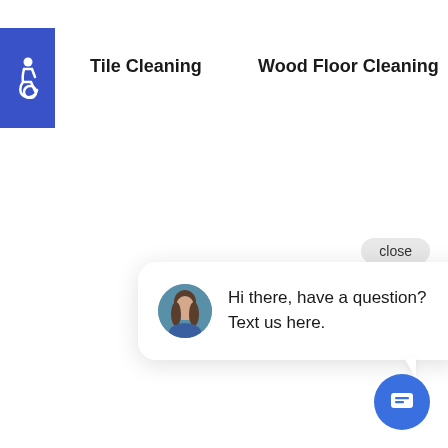[Figure (illustration): Blue square with white wheelchair accessibility icon]
Tile Cleaning
Wood Floor Cleaning
close
[Figure (screenshot): Chat popup widget with avatar photo of a woman and text: Hi there, have a question? Text us here.]
[Figure (illustration): Blue circular chat FAB button with message icon]